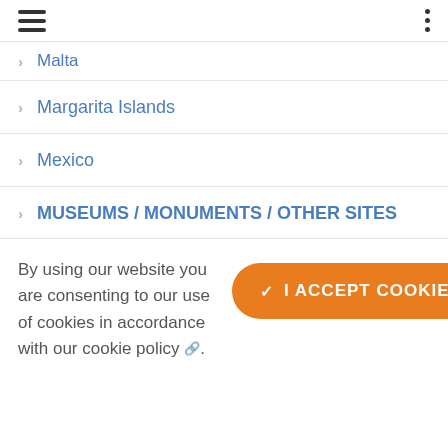Menu header with hamburger and dots icons
Malta
Margarita Islands
Mexico
MUSEUMS / MONUMENTS / OTHER SITES
Natural Wonders
New Zealand
Nicaragua
NIGHTLIFE
By using our website you are consenting to our use of cookies in accordance with our cookie policy.
✓ I ACCEPT COOKIES